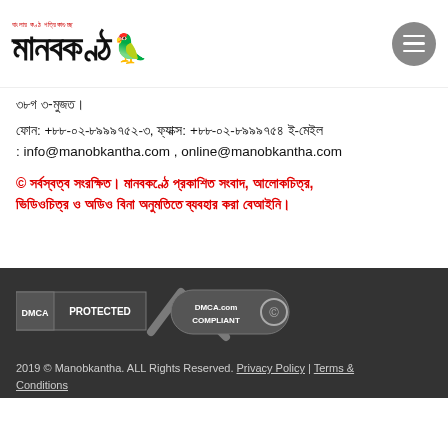[Figure (logo): Manobkantha Bengali newspaper logo with bird illustration]
ফোন: +৮৮-০২-৮৯৯৯৭৫২-৩, ফ্যাক্স: +৮৮-০২-৮৯৯৯৭৫৪ ই-মেইল : info@manobkantha.com , online@manobkantha.com
© সর্বস্বত্ব সংরক্ষিত। মানবকণ্ঠে প্রকাশিত সংবাদ, আলোকচিত্র, ভিডিওচিত্র ও অডিও বিনা অনুমতিতে ব্যবহার করা বেআইনি।
[Figure (logo): DMCA Protected and DMCA.com Compliant badge]
2019 © Manobkantha. ALL Rights Reserved. Privacy Policy | Terms & Conditions
Powered by: Daily Manobkantha